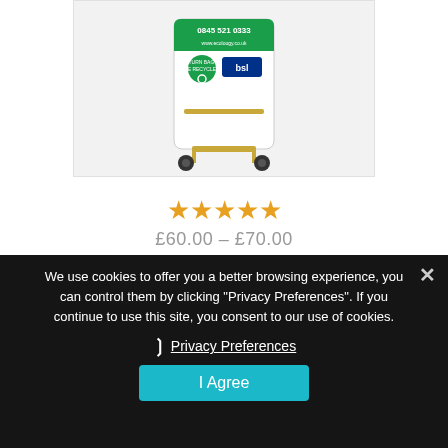[Figure (photo): Product image of a white bag/sack on a wheeled trolley/dolly. The bag has a green header with phone number 0845 521 0333 and website, plus a recycling logo. Displayed on a light grey background with a border.]
★★★★★
£60.00 – £70.00
We use cookies to offer you a better browsing experience, you can control them by clicking "Privacy Preferences". If you continue to use this site, you consent to our use of cookies.
❯ Privacy Preferences
I Agree